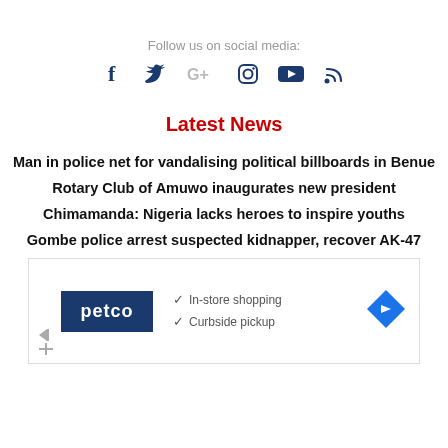Follow us on social media:
[Figure (infographic): Social media icons: Facebook, Twitter, Google+, Instagram, YouTube, RSS]
Latest News
Man in police net for vandalising political billboards in Benue
Rotary Club of Amuwo inaugurates new president
Chimamanda: Nigeria lacks heroes to inspire youths
Gombe police arrest suspected kidnapper, recover AK-47
[Figure (infographic): Petco advertisement with logo, In-store shopping and Curbside pickup checkmarks, and navigation icon]